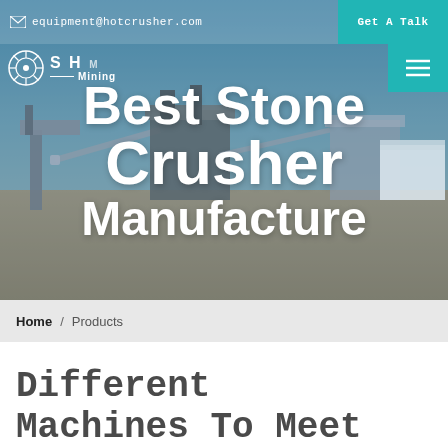equipment@hotcrusher.com
[Figure (photo): Stone crusher manufacturing plant with industrial conveyor belts and machinery in a desert/arid landscape under clear blue sky]
Best Stone Crusher Manufacture
Home / Products
Different Machines To Meet All Need